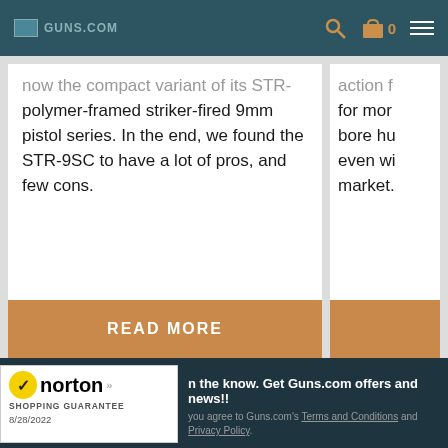Guns.com — navigation header with search, cart (0), and menu icons
polymer-framed striker-fired 9mm pistol series. In the end, we found the STR-9SC to have a lot of pros, and few cons.
for mor... bore hu... even wi... market.
READ MORE
In the know. Get Guns.com offers and news!! you agree to Guns.com's Terms and Conditions and Privacy Policy. Norton Shopping Guarantee 8/28/2022